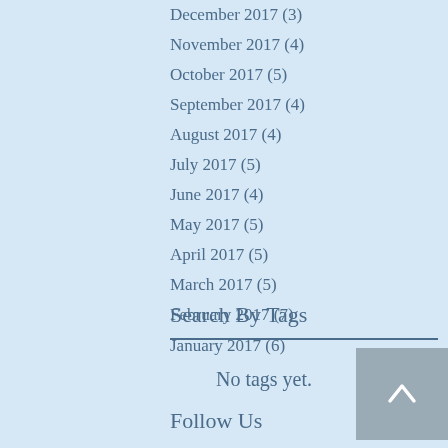December 2017 (3)
November 2017 (4)
October 2017 (5)
September 2017 (4)
August 2017 (4)
July 2017 (5)
June 2017 (4)
May 2017 (5)
April 2017 (5)
March 2017 (5)
February 2017 (7)
January 2017 (6)
Search By Tags
No tags yet.
Follow Us